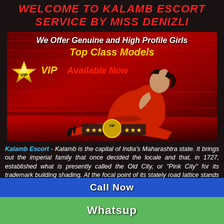Welcome to Kalamb Escort Service by Miss Denizli
[Figure (photo): Promotional banner for escort service showing a woman in red dress posing. Text overlay: 'We Offer Genuine and High Profile Girls', 'Top Class Models', star VIP logo, 'Available Now' in red, VIP badge with stars at bottom.]
Kalamb Escort - Kalamb is the capital of India's Maharashtra state. It brings out the imperial family that once decided the locale and that, in 1727, established what is presently called the Old City, or "Pink City" for its trademark building shading. At the focal point of its stately road lattice stands the extravagant, colonnaded City Palace complex. With nurseries, patios and historical centers, some portion
Call Now
Whatsup